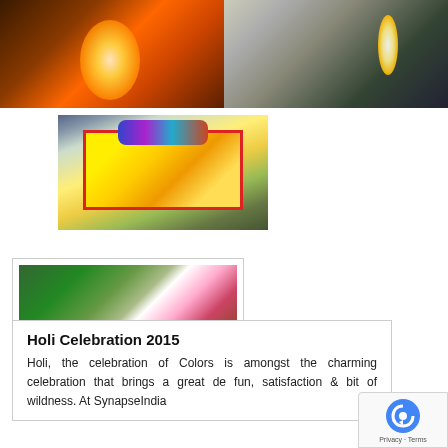[Figure (photo): Two side-by-side photos: left shows orange/red fire/sparks at night, right shows people with sparklers at an outdoor event at night]
[Figure (photo): Colorful rangoli art on the ground with diyas (oil lamps) around it, featuring a yellow background with red border and decorative patterns]
[Figure (photo): Holi celebration setup outdoors with a Holi banner/poster, colorful powder (gulal) in plates on a table, and greenery in the background]
Holi Celebration 2015
Holi, the celebration of Colors is amongst the charming celebration that brings a great de fun, satisfaction & bit of wildness. At SynapseIndia